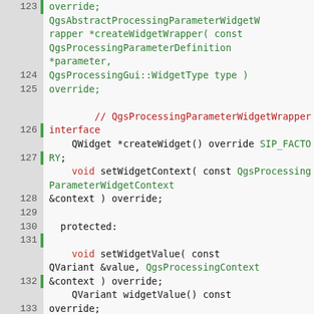Code listing showing C++ class definition lines 123-138 with syntax highlighting. Green text for types/identifiers, red for keywords/class names, black for other tokens.